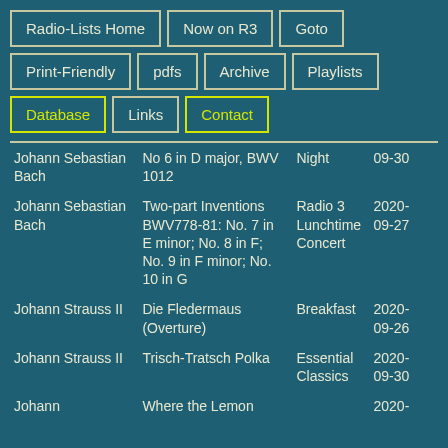Radio-Lists Home
Now on R3
Goto
Print-Friendly
pdfs
Archive
Playlists
Database
Links
Contact
| Composer | Work | Show | Date |
| --- | --- | --- | --- |
| Johann Sebastian Bach | No 6 in D major, BWV 1012 | Night | 09-30 |
| Johann Sebastian Bach | Two-part Inventions BWV778-81: No. 7 in E minor; No. 8 in F; No. 9 in F minor; No. 10 in G | Radio 3 Lunchtime Concert | 2020-09-27 |
| Johann Strauss II | Die Fledermaus (Overture) | Breakfast | 2020-09-26 |
| Johann Strauss II | Trisch-Tratsch Polka | Essential Classics | 2020-09-30 |
| Johann ... | Where the Lemon ... |  | 2020-... |